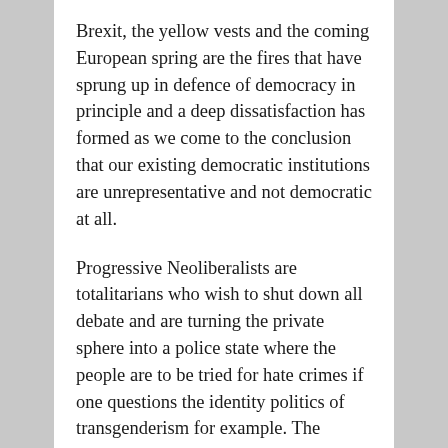Brexit, the yellow vests and the coming European spring are the fires that have sprung up in defence of democracy in principle and a deep dissatisfaction has formed as we come to the conclusion that our existing democratic institutions are unrepresentative and not democratic at all.
Progressive Neoliberalists are totalitarians who wish to shut down all debate and are turning the private sphere into a police state where the people are to be tried for hate crimes if one questions the identity politics of transgenderism for example. The progressives are the old violent revolutionaries of the Left turned into imperialist Neoliberals. They do no seek to resolve conflict they consistently seek to create and manufacture them. They feed off the violence they provoke and the bloodier the better.